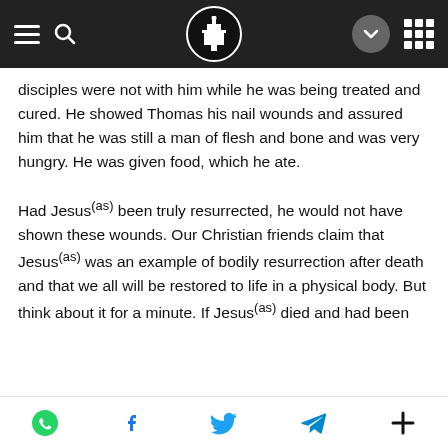[Navigation bar with hamburger menu, search, logo, chevron, grid icons]
disciples were not with him while he was being treated and cured. He showed Thomas his nail wounds and assured him that he was still a man of flesh and bone and was very hungry. He was given food, which he ate.
Had Jesus(as) been truly resurrected, he would not have shown these wounds. Our Christian friends claim that Jesus(as) was an example of bodily resurrection after death and that we all will be restored to life in a physical body. But think about it for a minute. If Jesus(as) died and had been
[Social share icons: WhatsApp, Facebook, Twitter, Telegram, More]